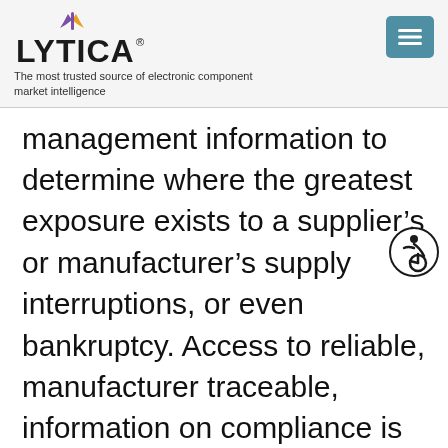[Figure (logo): Lytica logo with colored icon above text and registered trademark symbol]
The most trusted source of electronic component market intelligence
management information to determine where the greatest exposure exists to a supplier’s or manufacturer’s supply interruptions, or even bankruptcy. Access to reliable, manufacturer traceable, information on compliance is another need that appears to be inadequately supported. These